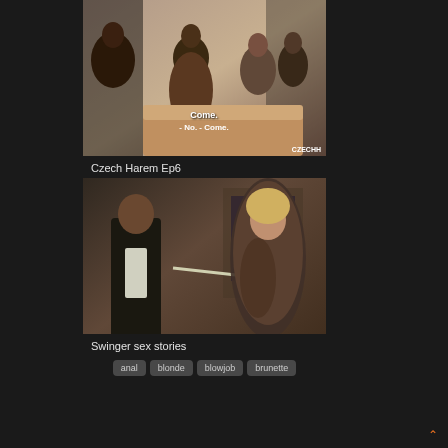[Figure (screenshot): Thumbnail image of Czech Harem Ep6 video with subtitle text 'Come. - No. - Come.' and CZECHH watermark]
Czech Harem Ep6
amateur
cumshot
mature
[Figure (screenshot): Thumbnail image of Swinger sex stories video with CURE.com watermark]
Swinger sex stories
anal
blonde
blowjob
brunette